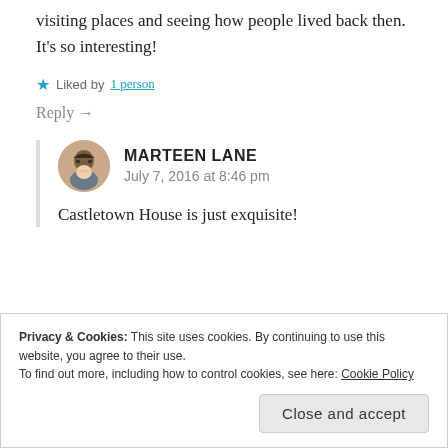visiting places and seeing how people lived back then. It's so interesting!
★ Liked by 1 person
Reply →
MARTEEN LANE
July 7, 2016 at 8:46 pm
Castletown House is just exquisite!
Privacy & Cookies: This site uses cookies. By continuing to use this website, you agree to their use.
To find out more, including how to control cookies, see here: Cookie Policy
Close and accept